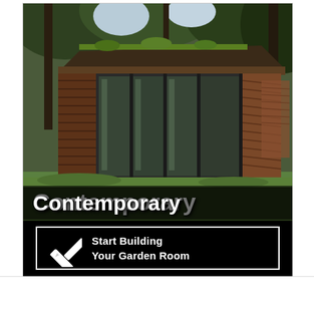[Figure (photo): Contemporary garden room / studio with horizontal cedar wood cladding, large black-framed glass sliding doors, flat roof with green plants on top, surrounded by tall trees. Text overlay 'Contemporary' in white bold font at bottom of photo. Below photo: black banner with white-bordered rectangle containing crossed ruler/pencil icon and text 'Start Building Your Garden Room'.]